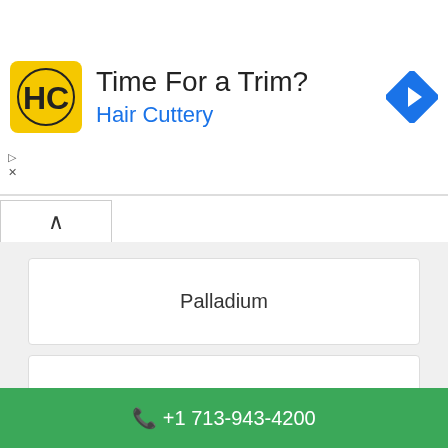[Figure (screenshot): Hair Cuttery advertisement banner with yellow HC logo, title 'Time For a Trim?', subtitle 'Hair Cuttery', and blue navigation arrow icon]
Palladium
Pink Soda Sport
Polo Ralph Lauren
+1 713-943-4200